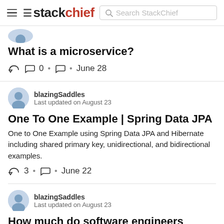stackchief | Search StackChief
What is a microservice?
0 • June 28
blazingSaddles
Last updated on August 23
One To One Example | Spring Data JPA
One to One Example using Spring Data JPA and Hibernate including shared primary key, unidirectional, and bidirectional examples.
3 • June 22
blazingSaddles
Last updated on August 23
How much do software engineers make?